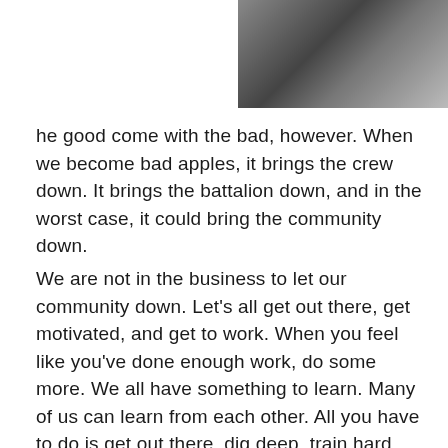[Figure (photo): A partial photograph showing what appears to be hands or objects, cropped in the upper right area of the page.]
he good come with the bad, however. When we become bad apples, it brings the crew down. It brings the battalion down, and in the worst case, it could bring the community down.
We are not in the business to let our community down. Let’s all get out there, get motivated, and get to work. When you feel like you’ve done enough work, do some more. We all have something to learn. Many of us can learn from each other. All you have to do is get out there, dig deep, train hard, get dirty, and GO GET IT! Now, can you see that it’s in my blood?